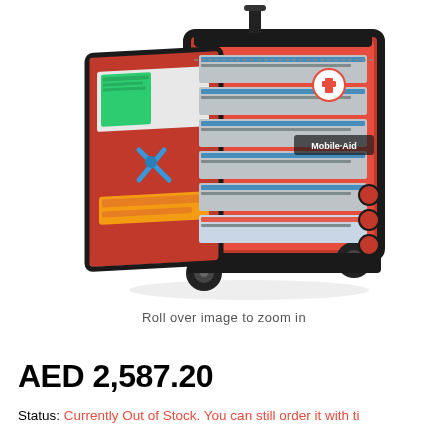[Figure (photo): Red rolling first aid kit (MobileAid brand) open to show organized medical supplies inside, with scissors, bandages, and labeled compartments. The bag has wheels and a pull handle.]
Roll over image to zoom in
AED 2,587.20
Status: Currently Out of Stock. You can still order it with time